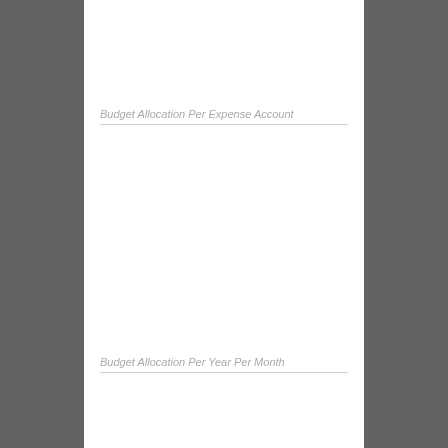Budget Allocation Per Expense Account
Budget Allocation Per Year Per Month